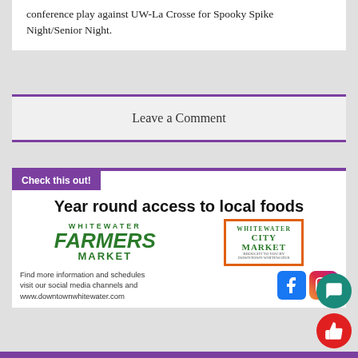conference play against UW-La Crosse for Spooky Spike Night/Senior Night.
Leave a Comment
Check this out!
[Figure (infographic): Advertisement for Whitewater Farmers Market and Whitewater City Market showing logos and social media channels. Headline: Year round access to local foods. Text: Find more information and schedules visit our social media channels and www.downtownwhitewater.com]
[Figure (logo): Facebook and Instagram social media icons]